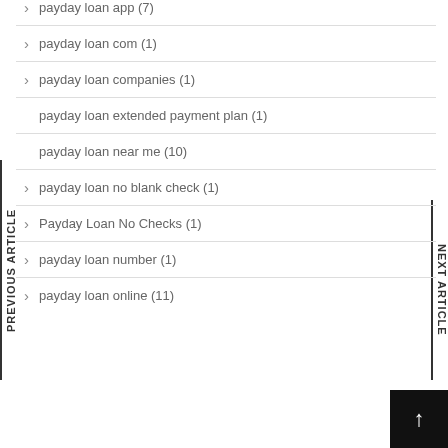payday loan app (7)
payday loan com (1)
payday loan companies (1)
payday loan extended payment plan (1)
payday loan near me (10)
payday loan no blank check (1)
Payday Loan No Checks (1)
payday loan number (1)
payday loan online (11)